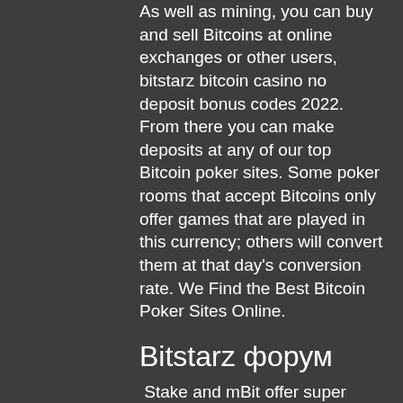As well as mining, you can buy and sell Bitcoins at online exchanges or other users, bitstarz bitcoin casino no deposit bonus codes 2022. From there you can make deposits at any of our top Bitcoin poker sites. Some poker rooms that accept Bitcoins only offer games that are played in this currency; others will convert them at that day's conversion rate. We Find the Best Bitcoin Poker Sites Online.
Bitstarz форум
Stake and mBit offer super quick withdrawals, bitstarz bitcoin casino no deposit bonus codes 2022. Ultimately you're buying bitcoins from someone else who has them. The companies above exist to try and make this process easier. Go for the one that feels right for you, bitstarz форум. After you've bought some bitcoin, they're probably going to be sitting in your online wallet at the website